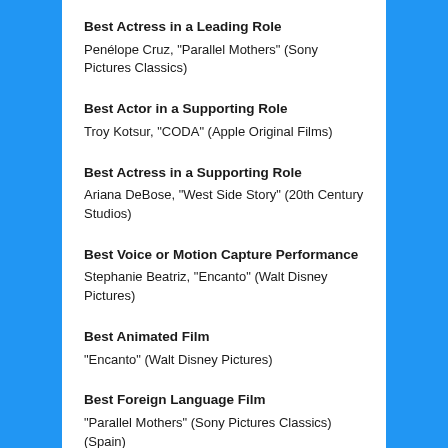Best Actress in a Leading Role
Penélope Cruz, “Parallel Mothers” (Sony Pictures Classics)
Best Actor in a Supporting Role
Troy Kotsur, “CODA” (Apple Original Films)
Best Actress in a Supporting Role
Ariana DeBose, “West Side Story” (20th Century Studios)
Best Voice or Motion Capture Performance
Stephanie Beatriz, “Encanto” (Walt Disney Pictures)
Best Animated Film
“Encanto” (Walt Disney Pictures)
Best Foreign Language Film
“Parallel Mothers” (Sony Pictures Classics) (Spain)
Best Documentary Film